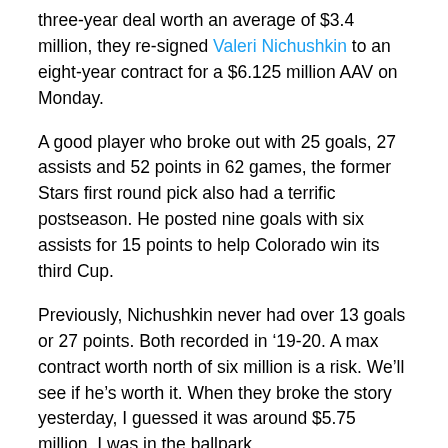three-year deal worth an average of $3.4 million, they re-signed Valeri Nichushkin to an eight-year contract for a $6.125 million AAV on Monday.
A good player who broke out with 25 goals, 27 assists and 52 points in 62 games, the former Stars first round pick also had a terrific postseason. He posted nine goals with six assists for 15 points to help Colorado win its third Cup.
Previously, Nichushkin never had over 13 goals or 27 points. Both recorded in '19-20. A max contract worth north of six million is a risk. We'll see if he's worth it. When they broke the story yesterday, I guessed it was around $5.75 million. I was in the ballpark.
[Figure (other): Tweet card showing Elliotte Friedman (@FriedgeHNIC) with verified badge and Follow link, plus Twitter bird logo]